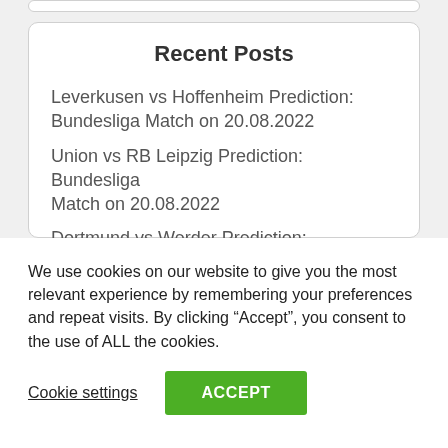Recent Posts
Leverkusen vs Hoffenheim Prediction: Bundesliga Match on 20.08.2022
Union vs RB Leipzig Prediction: Bundesliga Match on 20.08.2022
Dortmund vs Werder Prediction: Bundesliga Match on 20.08.2022
We use cookies on our website to give you the most relevant experience by remembering your preferences and repeat visits. By clicking “Accept”, you consent to the use of ALL the cookies.
Cookie settings  ACCEPT